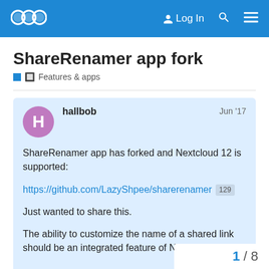Nextcloud community forum — Log In
ShareRenamer app fork
🔲 Features & apps
hallbob  Jun '17
ShareRenamer app has forked and Nextcloud 12 is supported:
https://github.com/LazyShpee/sharerenamer  129
Just wanted to share this.
The ability to customize the name of a shared link should be an integrated feature of Nextcloud I think.
1 / 8